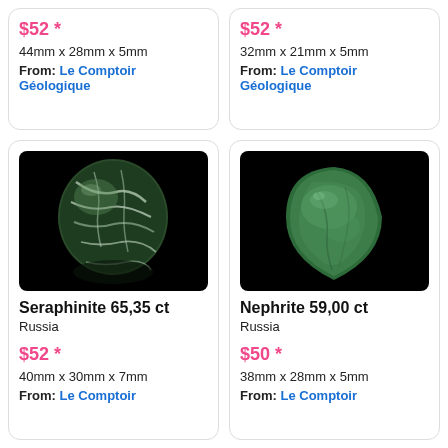$52 *
44mm x 28mm x 5mm
From: Le Comptoir Géologique
$52 *
32mm x 21mm x 5mm
From: Le Comptoir Géologique
[Figure (photo): Seraphinite gemstone cabochon with green and white fibrous pattern, photographed on black background]
Seraphinite 65,35 ct
Russia
$52 *
40mm x 30mm x 7mm
From: Le Comptoir
[Figure (photo): Nephrite jade cabochon, teardrop shape, green color, photographed on black background]
Nephrite 59,00 ct
Russia
$50 *
38mm x 28mm x 5mm
From: Le Comptoir